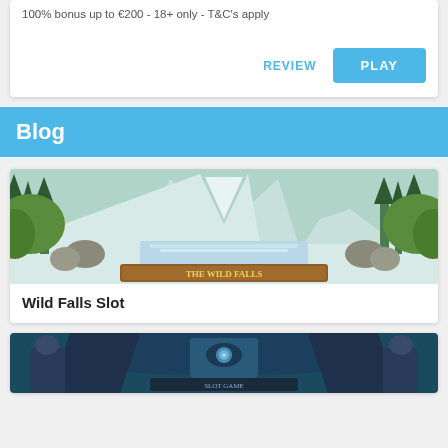100% bonus up to €200 - 18+ only - T&C's apply
REVIEW
PLAY
Blog
[Figure (photo): Wild Falls slot game screenshot showing a mountain landscape with snow-capped peaks, pine trees, boulders, and a waterfall with a wooden game title banner at the bottom.]
Wild Falls Slot
[Figure (photo): Partial screenshot of a second slot game with a dark blue/teal fantasy theme showing an armored character and decorative game title elements.]